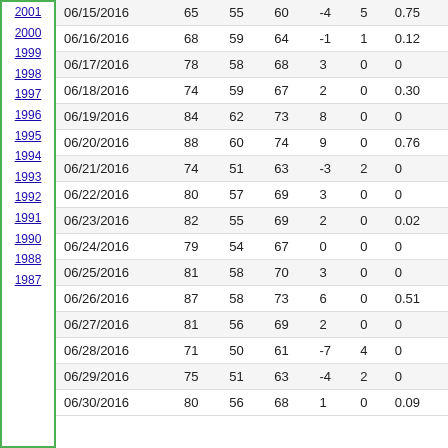| 06/15/2016 | 65 | 55 | 60 | -4 | 5 | 0.75 |
| 06/16/2016 | 68 | 59 | 64 | -1 | 1 | 0.12 |
| 06/17/2016 | 78 | 58 | 68 | 3 | 0 | 0 |
| 06/18/2016 | 74 | 59 | 67 | 2 | 0 | 0.30 |
| 06/19/2016 | 84 | 62 | 73 | 8 | 0 | 0 |
| 06/20/2016 | 88 | 60 | 74 | 9 | 0 | 0.76 |
| 06/21/2016 | 74 | 51 | 63 | -3 | 2 | 0 |
| 06/22/2016 | 80 | 57 | 69 | 3 | 0 | 0 |
| 06/23/2016 | 82 | 55 | 69 | 2 | 0 | 0.02 |
| 06/24/2016 | 79 | 54 | 67 | 0 | 0 | 0 |
| 06/25/2016 | 81 | 58 | 70 | 3 | 0 | 0 |
| 06/26/2016 | 87 | 58 | 73 | 6 | 0 | 0.51 |
| 06/27/2016 | 81 | 56 | 69 | 2 | 0 | 0 |
| 06/28/2016 | 71 | 50 | 61 | -7 | 4 | 0 |
| 06/29/2016 | 75 | 51 | 63 | -4 | 2 | 0 |
| 06/30/2016 | 80 | 56 | 68 | 1 | 0 | 0.09 |